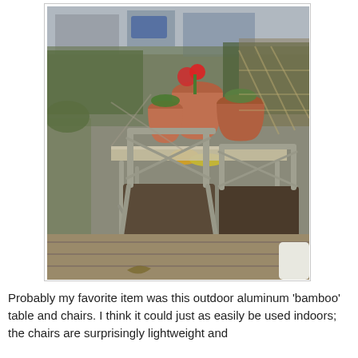[Figure (photo): Outdoor patio scene showing aluminum 'bamboo' style table and chairs with dark cushions on a wooden deck. Several terracotta pots with plants and flowers are on the table. Urban rooftop or terrace setting visible in the background.]
Probably my favorite item was this outdoor aluminum 'bamboo' table and chairs. I think it could just as easily be used indoors; the chairs are surprisingly lightweight and